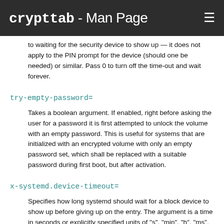crypttab - Man Page
to waiting for the security device to show up — it does not apply to the PIN prompt for the device (should one be needed) or similar. Pass 0 to turn off the time-out and wait forever.
try-empty-password=
Takes a boolean argument. If enabled, right before asking the user for a password it is first attempted to unlock the volume with an empty password. This is useful for systems that are initialized with an encrypted volume with only an empty password set, which shall be replaced with a suitable password during first boot, but after activation.
x-systemd.device-timeout=
Specifies how long systemd should wait for a block device to show up before giving up on the entry. The argument is a time in seconds or explicitly specified units of "s", "min", "h", "ms".
x-initrd.attach
Setup this encrypted block device in the initramfs